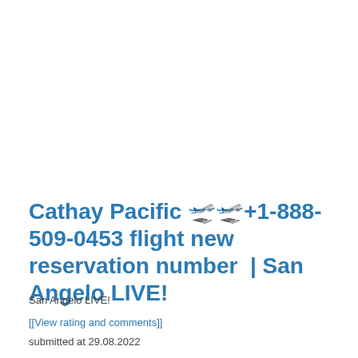Cathay Pacific 🛫+1-888-509-0453 flight new reservation number | San Angelo LIVE!
San Angelo LIVE!
[[View rating and comments]]
submitted at 29.08.2022